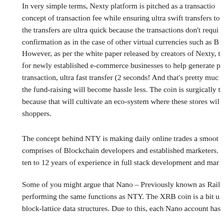In very simple terms, Nexty platform is pitched as a transaction concept of transaction fee while ensuring ultra swift transfers to the transfers are ultra quick because the transactions don't requi confirmation as in the case of other virtual currencies such as B
However, as per the white paper released by creators of Nexty, t for newly established e-commerce businesses to help generate p transaction, ultra fast transfer (2 seconds! And that's pretty muc the fund-raising will become hassle less. The coin is surgically t because that will cultivate an eco-system where these stores wil shoppers.
The concept behind NTY is making daily online trades a smoot comprises of Blockchain developers and established marketers. ten to 12 years of experience in full stack development and mar
Some of you might argue that Nano – Previously known as Rail performing the same functions as NTY. The XRB coin is a bit u block-lattice data structures. Due to this, each Nano account has